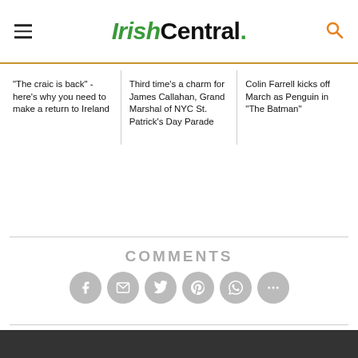IrishCentral.
"The craic is back" - here's why you need to make a return to Ireland
Third time’s a charm for James Callahan, Grand Marshal of NYC St. Patrick’s Day Parade
Colin Farrell kicks off March as Penguin in "The Batman"
COMMENTS